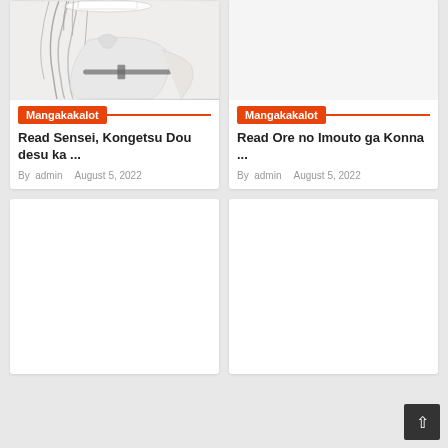[Figure (illustration): Partial anime-style sketch of a character in white outfit with dark hair, cropped at top]
Mangakakalot
Read Sensei, Kongetsu Dou desu ka ...
By  admin     August 5, 2022
[Figure (illustration): Empty white card image area for second manga entry]
Mangakakalot
Read Ore no Imouto ga Konna ...
By  admin     August 5, 2022
[Figure (illustration): Empty white card image area, bottom left]
[Figure (illustration): Empty white card image area, bottom right]